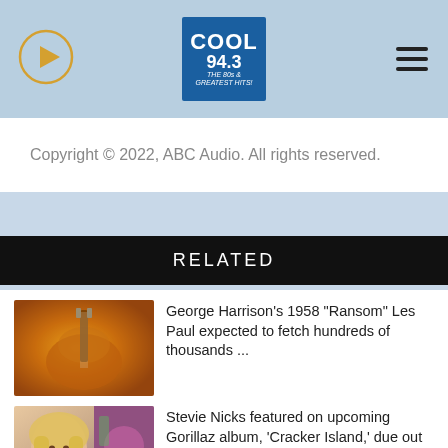[Figure (logo): Cool 94.3 radio station logo in blue square, with play button icon on left and hamburger menu on right, on light blue header bar]
Copyright © 2022, ABC Audio. All rights reserved.
RELATED
[Figure (photo): George Harrison's 1958 sunburst Les Paul guitar]
George Harrison's 1958 "Ransom" Les Paul expected to fetch hundreds of thousands ...
[Figure (photo): Stevie Nicks photo collage]
Stevie Nicks featured on upcoming Gorillaz album, 'Cracker Island,' due out in 2023